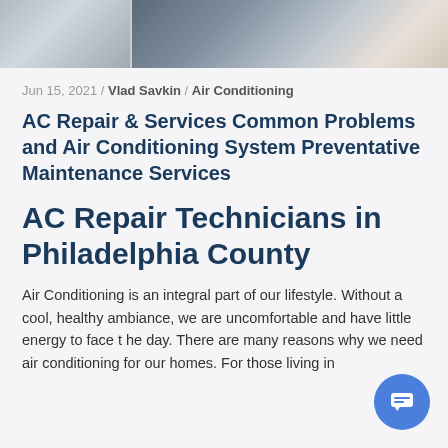[Figure (photo): Photo strip at top showing HVAC/air conditioning equipment and a technician's gloved hand working on machinery]
Jun 15, 2021 / Vlad Savkin / Air Conditioning
AC Repair & Services Common Problems and Air Conditioning System Preventative Maintenance Services
AC Repair Technicians in Philadelphia County
Air Conditioning is an integral part of our lifestyle. Without a cool, healthy ambiance, we are uncomfortable and have little energy to face the day. There are many reasons why we need air conditioning for our homes. For those living in